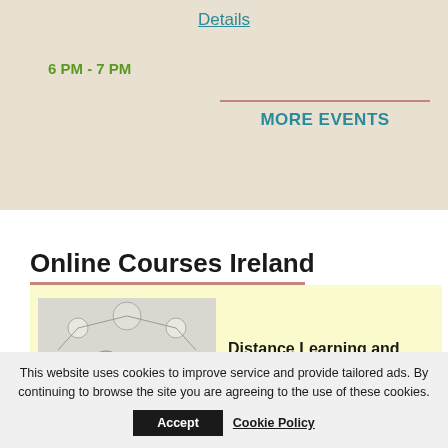Details
6 PM - 7 PM
MORE EVENTS
Online Courses Ireland
[Figure (illustration): E-learning illustration showing a laptop with a human head/brain graphic and the label E-LEARNING, with network/mind-map graphics in the background]
Distance Learning and Online
Courses are offered in a number of different formats,
This website uses cookies to improve service and provide tailored ads. By continuing to browse the site you are agreeing to the use of these cookies.
Accept
Cookie Policy